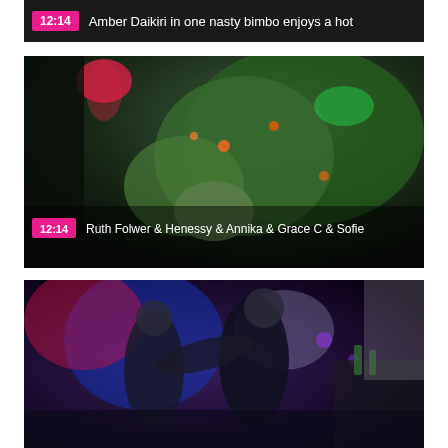[Figure (screenshot): Video thumbnail top strip with pink duration badge '12:14' and title 'Amber Daikiri in one nasty bimbo enjoys a hot']
[Figure (screenshot): Video thumbnail showing nightclub scene with green lighting, duration badge '12:14', title 'Ruth Folwer & Henessy & Annika & Grace C & Sofie']
[Figure (screenshot): Video thumbnail showing nightclub dancing scene with purple/red lighting, partially visible at bottom of page]